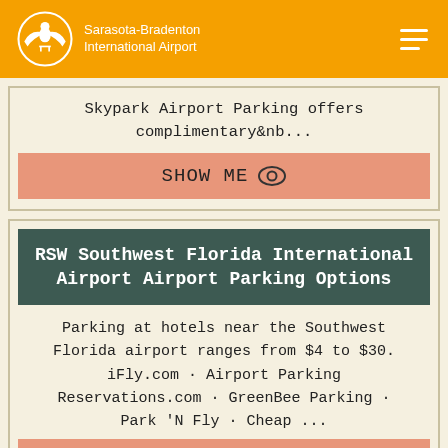Sarasota-Bradenton International Airport
Skypark Airport Parking offers complimentary&nb...
SHOW ME
RSW Southwest Florida International Airport Airport Parking Options
Parking at hotels near the Southwest Florida airport ranges from $4 to $30. iFly.com · Airport Parking Reservations.com · GreenBee Parking · Park 'N Fly · Cheap ...
SHOW ME